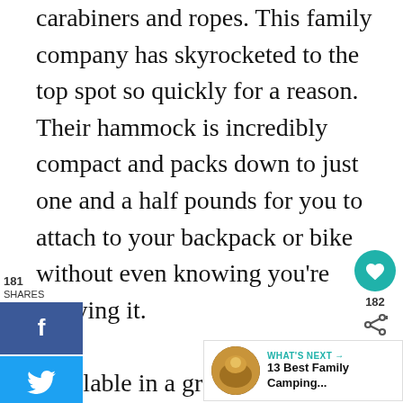carabiners and ropes. This family company has skyrocketed to the top spot so quickly for a reason. Their hammock is incredibly compact and packs down to just one and a half pounds for you to attach to your backpack or bike without even knowing you're carrying it.

Available in a great range of colors. They offer a money back guarantee so you can get a replacement or a full refund anytime for any reason.
[Figure (infographic): Social share sidebar with Facebook (blue), Twitter (light blue), and Pinterest (red) share buttons, showing 181 shares count]
[Figure (infographic): Save button (teal heart icon), share count 182, and share icon on the right side]
[Figure (infographic): What's Next widget at bottom right showing '13 Best Family Camping...' with a circular thumbnail image]